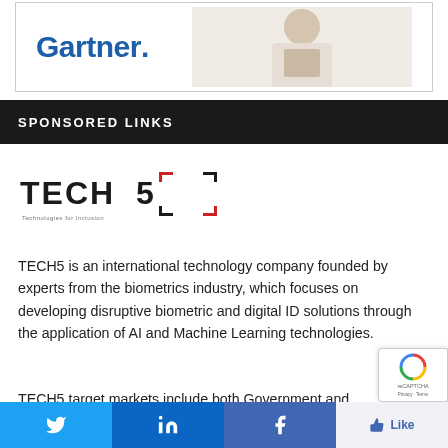[Figure (logo): Gartner advertisement banner with logo text and person holding phone]
SPONSORED LINKS
[Figure (logo): TECH5 logo - Technologies for Inclusion, with stylized bracket design in black and red]
TECH5 is an international technology company founded by experts from the biometrics industry, which focuses on developing disruptive biometric and digital ID solutions through the application of AI and Machine Learning technologies.
TECH5 target markets include both Government and Private sectors with products powering Civil ID, Dig...